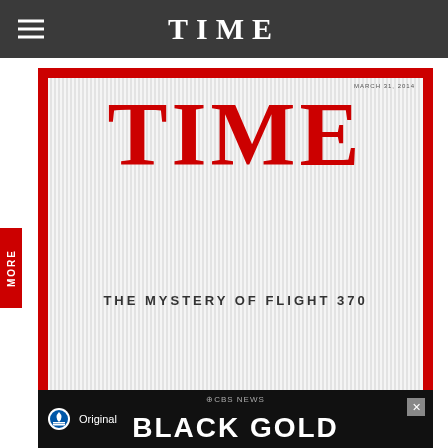TIME
[Figure (screenshot): TIME magazine cover for March 31, 2014, featuring the headline 'THE MYSTERY OF FLIGHT 370' with stylized vertical stripe pattern background and the TIME logo in red]
[Figure (screenshot): Advertisement bar at the bottom showing Paramount Original and CBS News 'BLACK GOLD']